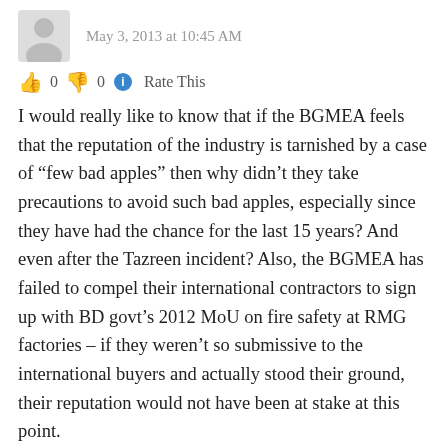May 3, 2013 at 10:45 AM
👍 0 👎 0 ℹ Rate This
I would really like to know that if the BGMEA feels that the reputation of the industry is tarnished by a case of "few bad apples" then why didn't they take precautions to avoid such bad apples, especially since they have had the chance for the last 15 years? And even after the Tazreen incident? Also, the BGMEA has failed to compel their international contractors to sign up with BD govt's 2012 MoU on fire safety at RMG factories – if they weren't so submissive to the international buyers and actually stood their ground, their reputation would not have been at stake at this point.
The other thing to consider is the role of media in the